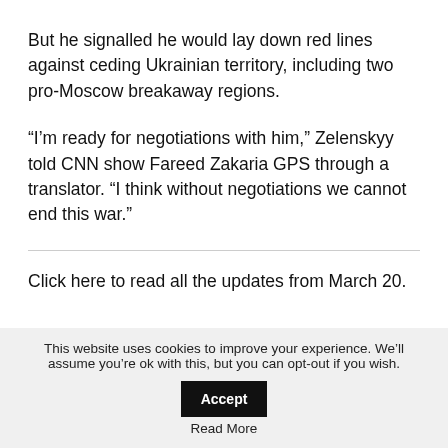But he signalled he would lay down red lines against ceding Ukrainian territory, including two pro-Moscow breakaway regions.
“I’m ready for negotiations with him,” Zelenskyy told CNN show Fareed Zakaria GPS through a translator. “I think without negotiations we cannot end this war.”
Click here to read all the updates from March 20.
This website uses cookies to improve your experience. We’ll assume you’re ok with this, but you can opt-out if you wish. Accept Read More